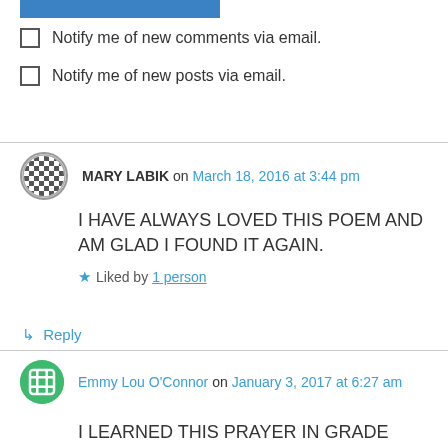[Figure (other): Blue button/bar at top of page]
Notify me of new comments via email.
Notify me of new posts via email.
MARY LABIK on March 18, 2016 at 3:44 pm
I HAVE ALWAYS LOVED THIS POEM AND AM GLAD I FOUND IT AGAIN.
Liked by 1 person
↳ Reply
Emmy Lou O'Connor on January 3, 2017 at 6:27 am
I LEARNED THIS PRAYER IN GRADE SCHOOL, ALMOST 65 YEARS AGO, AND